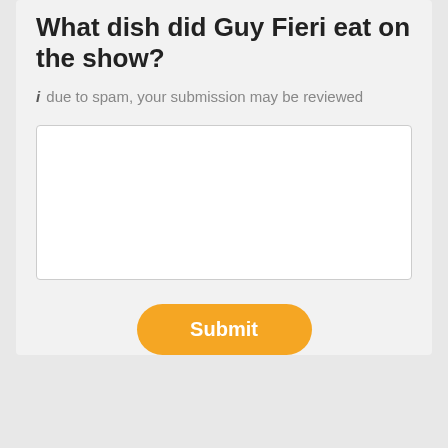What dish did Guy Fieri eat on the show?
i due to spam, your submission may be reviewed
[Figure (screenshot): Empty text area input field with resize handle in bottom-right corner]
Submit